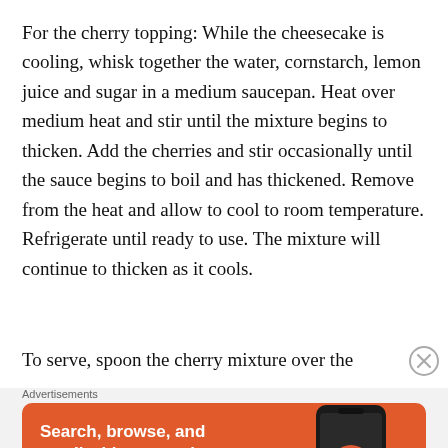For the cherry topping: While the cheesecake is cooling, whisk together the water, cornstarch, lemon juice and sugar in a medium saucepan. Heat over medium heat and stir until the mixture begins to thicken. Add the cherries and stir occasionally until the sauce begins to boil and has thickened. Remove from the heat and allow to cool to room temperature. Refrigerate until ready to use. The mixture will continue to thicken as it cools.
To serve, spoon the cherry mixture over the
[Figure (screenshot): DuckDuckGo advertisement banner with orange background. Text reads: 'Search, browse, and email with more privacy. All in One Free App'. Shows a phone mockup with DuckDuckGo logo.]